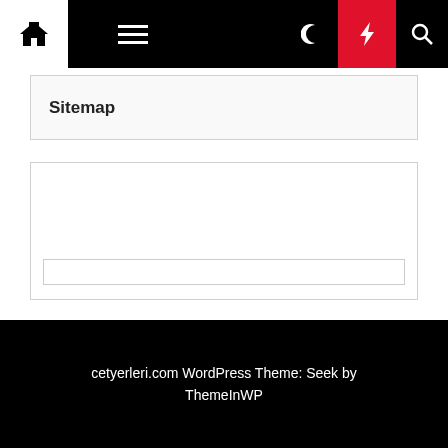Navigation bar with home, menu, moon, bolt, and search icons
Sitemap
[Figure (screenshot): Empty search/widget box with input field]
Visit Now
Health
cetyerleri.com WordPress Theme: Seek by ThemeInWP